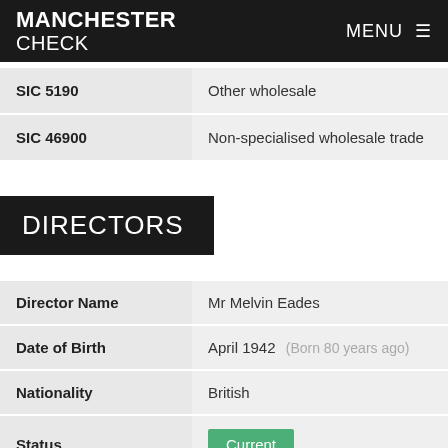MANCHESTER CHECK  MENU
| Code | Description |
| --- | --- |
| SIC 5190 | Other wholesale |
| SIC 46900 | Non-specialised wholesale trade |
DIRECTORS
| Field | Value |
| --- | --- |
| Director Name | Mr Melvin Eades |
| Date of Birth | April 1942  (Born 80 years ago) |
| Nationality | British |
| Status | Current |
| Appointed | 06 June 1991 (60 years, 3 months |